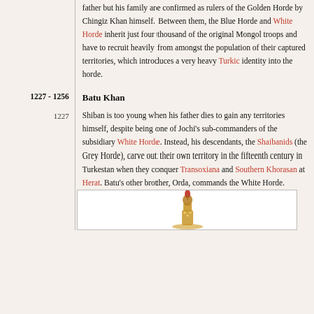father but his family are confirmed as rulers of the Golden Horde by Chingiz Khan himself. Between them, the Blue Horde and White Horde inherit just four thousand of the original Mongol troops and have to recruit heavily from amongst the population of their captured territories, which introduces a very heavy Turkic identity into the horde.
Batu Khan
1227-1256
1227
Shiban is too young when his father dies to gain any territories himself, despite being one of Jochi's sub-commanders of the subsidiary White Horde. Instead, his descendants, the Shaibanids (the Grey Horde), carve out their own territory in the fifteenth century in Turkestan when they conquer Transoxiana and Southern Khorasan at Herat. Batu's other brother, Orda, commands the White Horde.
[Figure (illustration): Illustration of a decorative figurine or statuette, appearing to be a warrior or historical figure with ornamental details, partially visible at the bottom of the page.]